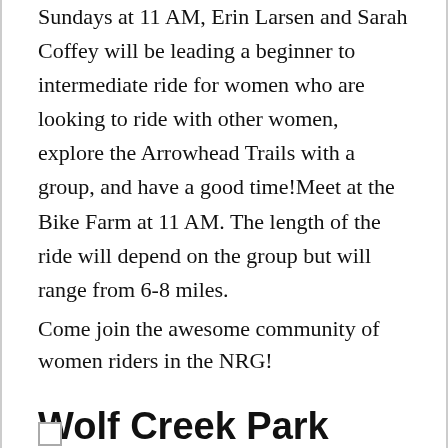Sundays at 11 AM, Erin Larsen and Sarah Coffey will be leading a beginner to intermediate ride for women who are looking to ride with other women, explore the Arrowhead Trails with a group, and have a good time!Meet at the Bike Farm at 11 AM. The length of the ride will depend on the group but will range from 6-8 miles.
Come join the awesome community of women riders in the NRG!
Wolf Creek Park Volunteer Trail Day -December
10am